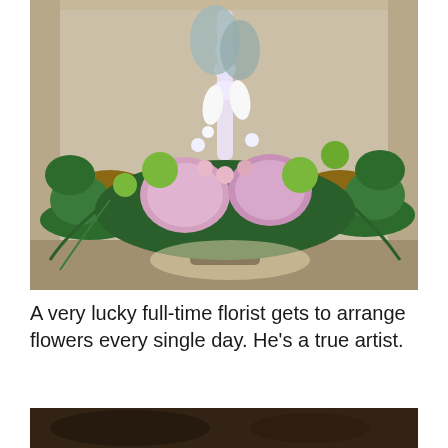[Figure (photo): A large ornate flower arrangement in a dark vase/urn, featuring pink hydrangeas, white calla lilies, tall white delphiniums, green viburnum balls, cascading ferns and greenery, set in a stone alcove with wooden logs on either side.]
A very lucky full-time florist gets to arrange flowers every single day. He's a true artist.
[Figure (photo): Partial view of a second photo, partially cropped at the bottom of the page.]